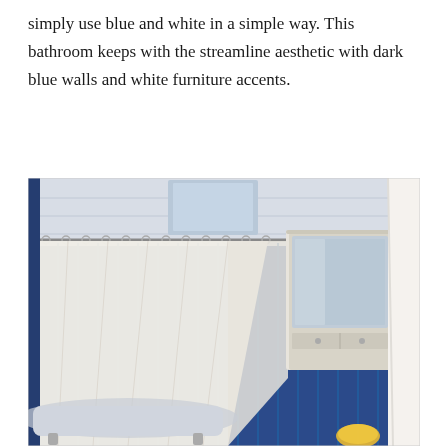simply use blue and white in a simple way. This bathroom keeps with the streamline aesthetic with dark blue walls and white furniture accents.
[Figure (photo): A bathroom with dark navy blue beadboard walls, a white shower curtain hanging from a chrome rod around a clawfoot bathtub, and a distressed white wooden medicine cabinet with a mirror mounted on the blue wall. A white robe is visible on the right edge. Yellow sponge visible at the bottom right.]